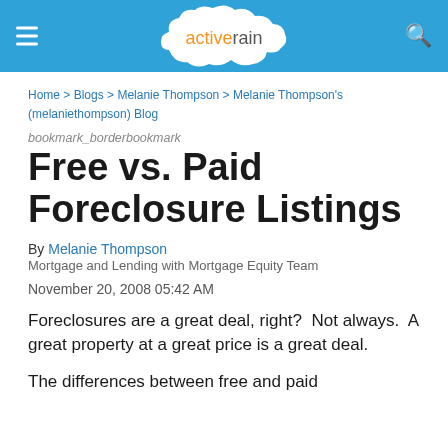activerain
Home > Blogs > Melanie Thompson > Melanie Thompson's (melaniethompson) Blog
bookmark_borderbookmark
Free vs. Paid Foreclosure Listings
By Melanie Thompson
Mortgage and Lending with Mortgage Equity Team
November 20, 2008 05:42 AM
Foreclosures are a great deal, right?  Not always.  A great property at a great price is a great deal.
The differences between free and paid